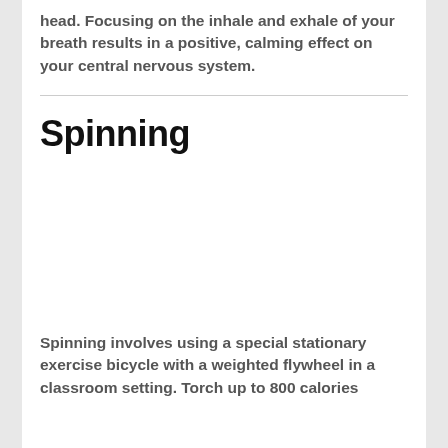head. Focusing on the inhale and exhale of your breath results in a positive, calming effect on your central nervous system.
Spinning
[Figure (photo): Image placeholder for spinning/stationary bicycle photo]
Spinning involves using a special stationary exercise bicycle with a weighted flywheel in a classroom setting. Torch up to 800 calories